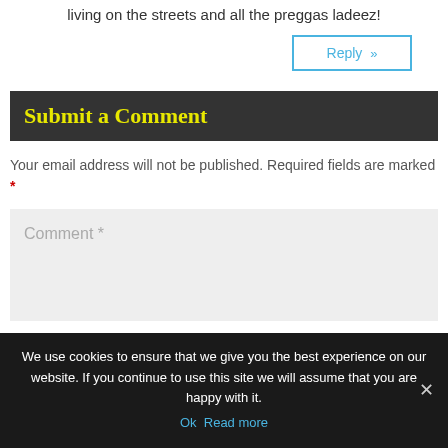living on the streets and all the preggas ladeez!
Reply »
Submit a Comment
Your email address will not be published. Required fields are marked *
Comment *
We use cookies to ensure that we give you the best experience on our website. If you continue to use this site we will assume that you are happy with it.
Ok  Read more